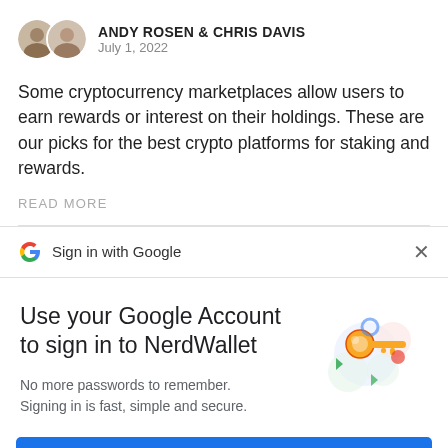ANDY ROSEN & CHRIS DAVIS
July 1, 2022
Some cryptocurrency marketplaces allow users to earn rewards or interest on their holdings. These are our picks for the best crypto platforms for staking and rewards.
READ MORE
Sign in with Google
Use your Google Account to sign in to NerdWallet
No more passwords to remember.
Signing in is fast, simple and secure.
[Figure (illustration): Colorful Google key illustration with circular shapes in blue, green, red, and yellow tones with a golden key in the center]
Continue